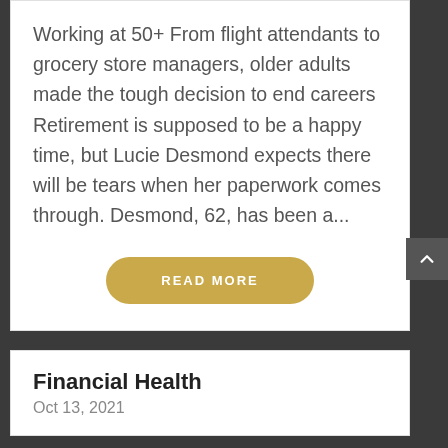Working at 50+ From flight attendants to grocery store managers, older adults made the tough decision to end careers Retirement is supposed to be a happy time, but Lucie Desmond expects there will be tears when her paperwork comes through. Desmond, 62, has been a...
[Figure (other): READ MORE button — a rounded pill-shaped button in golden/yellow color with white uppercase text]
Financial Health
Oct 13, 2021